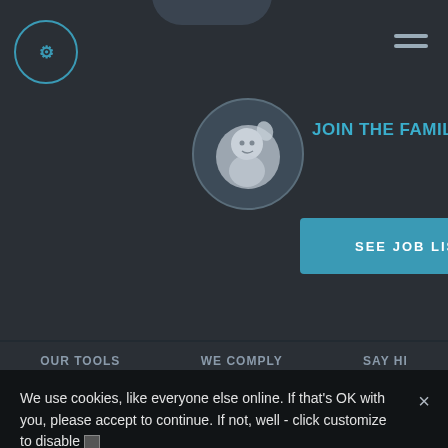[Figure (screenshot): Website header with dark background showing logo circle with Japanese/Chinese character icon, hamburger menu, mascot illustration of child character with fist raised in a circle, JOIN THE FAMILY! text in teal, SEE JOB LISTINGS blue button, navigation links OUR TOOLS, WE COMPLY, SAY HI, and two social media icons partially visible]
We use cookies, like everyone else online. If that's OK with you, please accept to continue. If not, well - click customize to disable
Accept
Learn more and customize